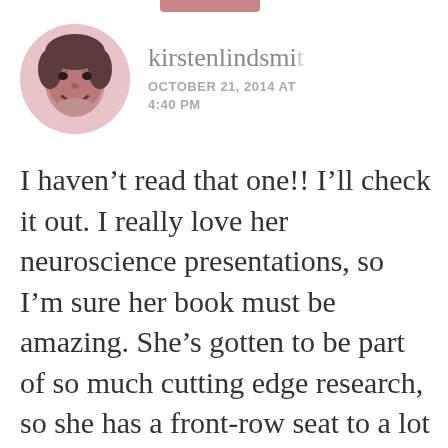[Figure (illustration): Circular avatar photo of a person with illustrated/sketch style, warm pink background]
kirstenlindsmi
OCTOBER 21, 2014 AT 4:40 PM
I haven't read that one!! I'll check it out. I really love her neuroscience presentations, so I'm sure her book must be amazing. She's gotten to be part of so much cutting edge research, so she has a front-row seat to a lot of really neat stuff. I especially love her diagrams